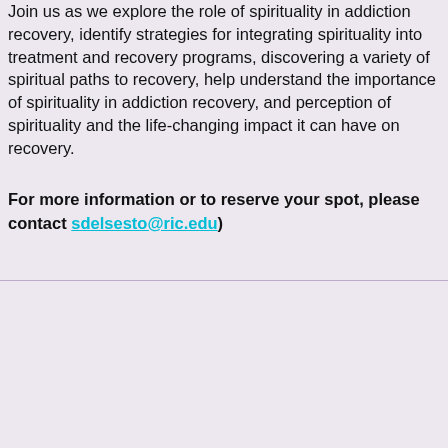Join us as we explore the role of spirituality in addiction recovery, identify strategies for integrating spirituality into treatment and recovery programs, discovering a variety of spiritual paths to recovery, help understand the importance of spirituality in addiction recovery, and perception of spirituality and the life-changing impact it can have on recovery.
For more information or to reserve your spot, please contact sdelsesto@ric.edu)